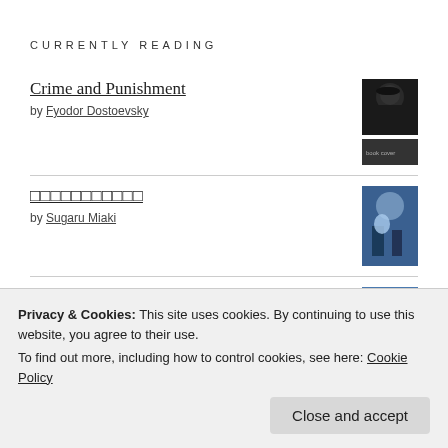CURRENTLY READING
Crime and Punishment by Fyodor Dostoevsky
□□□□□□□□□□□ by Sugaru Miaki
At the Mountains of Madness by H.P. Lovecraft
The Way of Zen
Privacy & Cookies: This site uses cookies. By continuing to use this website, you agree to their use.
To find out more, including how to control cookies, see here: Cookie Policy
Close and accept